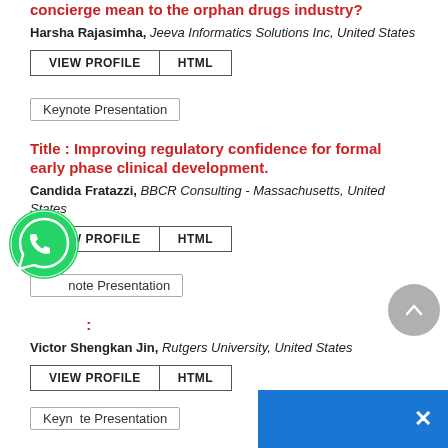Title : What does a technology-enabled patient concierge mean to the orphan drugs industry?
Harsha Rajasimha, Jeeva Informatics Solutions Inc, United States
VIEW PROFILE | HTML
Keynote Presentation
Title : Improving regulatory confidence for formal early phase clinical development.
Candida Fratazzi, BBCR Consulting - Massachusetts, United States
VIEW PROFILE | HTML
Keynote Presentation
Title :
Victor Shengkan Jin, Rutgers University, United States
VIEW PROFILE | HTML
Keynote Presentation